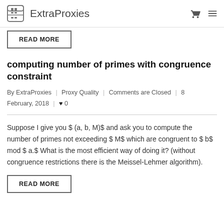ExtraProxies
READ MORE
computing number of primes with congruence constraint
By ExtraProxies | Proxy Quality | Comments are Closed | 8 February, 2018 | ♥ 0
Suppose I give you $ (a, b, M)$ and ask you to compute the number of primes not exceeding $ M$ which are congruent to $ b$ mod $ a.$ What is the most efficient way of doing it? (without congruence restrictions there is the Meissel-Lehmer algorithm).
READ MORE